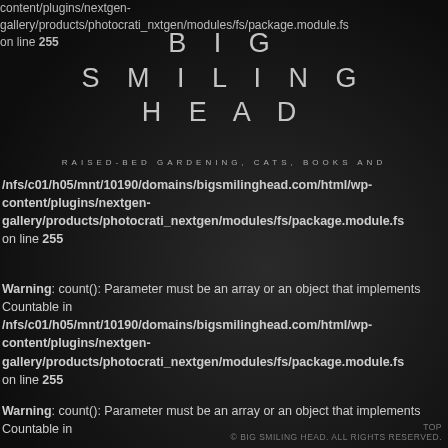content/plugins/nextgen-gallery/products/photocrati_nextgen/modules/fs/package.module.fs on line 255
BIG SMILING HEAD
RAISED-BED GARDENING, CATS, BOOKS AND
Warning: count(): Parameter must be an array or an object that implements Countable in /nfs/c01/h05/mnt/10190/domains/bigsmilinghead.com/html/wp-content/plugins/nextgen-gallery/products/photocrati_nextgen/modules/fs/package.module.fs on line 255
Warning: count(): Parameter must be an array or an object that implements Countable in /nfs/c01/h05/mnt/10190/domains/bigsmilinghead.com/html/wp-content/plugins/nextgen-gallery/products/photocrati_nextgen/modules/fs/package.module.fs on line 255
Warning: count(): Parameter must be an array or an object that implements Countable in
TOP © BIG SMILING HEAD. ALL RIGHTS RESERVED.